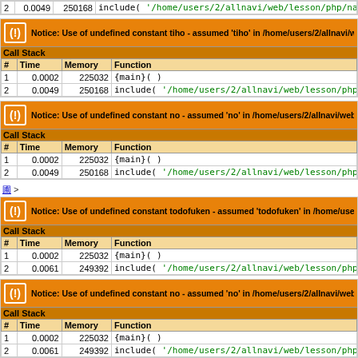| # | Time | Memory | Function |
| --- | --- | --- | --- |
| 2 | 0.0049 | 250168 | include( '/home/users/2/allnavi/web/lesson/php/navi_area_link_town_in... |
Notice: Use of undefined constant tiho - assumed 'tiho' in /home/users/2/allnavi/web/...
| # | Time | Memory | Function |
| --- | --- | --- | --- |
| 1 | 0.0002 | 225032 | {main}( ) |
| 2 | 0.0049 | 250168 | include( '/home/users/2/allnavi/web/lesson/php/navi_area_link_town_info... |
Notice: Use of undefined constant no - assumed 'no' in /home/users/2/allnavi/web/les...
| # | Time | Memory | Function |
| --- | --- | --- | --- |
| 1 | 0.0002 | 225032 | {main}( ) |
| 2 | 0.0049 | 250168 | include( '/home/users/2/allnavi/web/lesson/php/navi_area_link_town_info.p... |
>
Notice: Use of undefined constant todofuken - assumed 'todofuken' in /home/users/2/...
| # | Time | Memory | Function |
| --- | --- | --- | --- |
| 1 | 0.0002 | 225032 | {main}( ) |
| 2 | 0.0061 | 249392 | include( '/home/users/2/allnavi/web/lesson/php/navi_state_link_town_in... |
Notice: Use of undefined constant no - assumed 'no' in /home/users/2/allnavi/web/les...
| # | Time | Memory | Function |
| --- | --- | --- | --- |
| 1 | 0.0002 | 225032 | {main}( ) |
| 2 | 0.0061 | 249392 | include( '/home/users/2/allnavi/web/lesson/php/navi_state_link_town_info... |